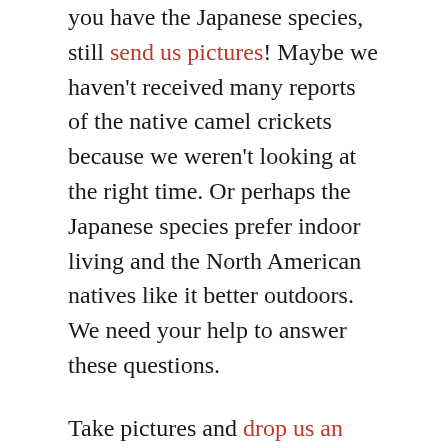you have the Japanese species, still send us pictures! Maybe we haven't received many reports of the native camel crickets because we weren't looking at the right time. Or perhaps the Japanese species prefer indoor living and the North American natives like it better outdoors. We need your help to answer these questions.
Take pictures and drop us an email to share your observations. Where and when did you find the crickets? In what kind of habitat were they living? And hey, if you have an abundance of camel crickets and aren't super-squeamish, pop one or two into a container and freeze them for us. In the near future, we're hoping to start some genetic research on 'sprickets' and could use